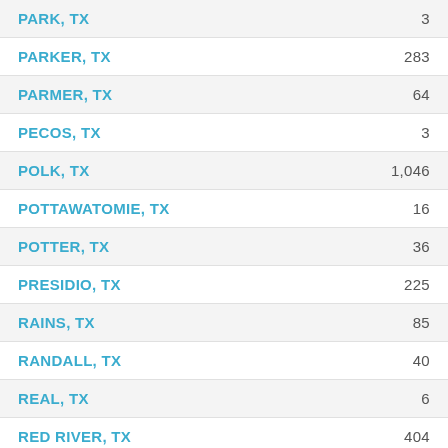| County | Value |
| --- | --- |
| PARK, TX | 3 |
| PARKER, TX | 283 |
| PARMER, TX | 64 |
| PECOS, TX | 3 |
| POLK, TX | 1,046 |
| POTTAWATOMIE, TX | 16 |
| POTTER, TX | 36 |
| PRESIDIO, TX | 225 |
| RAINS, TX | 85 |
| RANDALL, TX | 40 |
| REAL, TX | 6 |
| RED RIVER, TX | 404 |